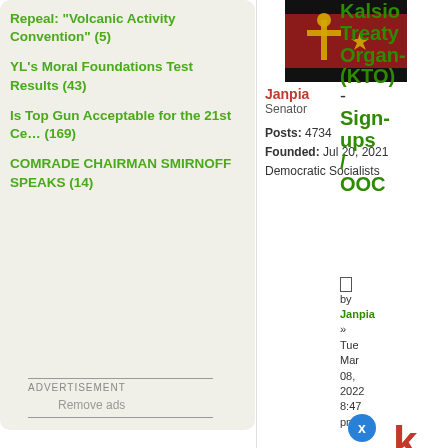Repeal: "Volcanic Activity Convention" (5)
YL's Moral Foundations Test Results (43)
Is Top Gun Acceptable for the 21st Ce… (169)
COMRADE CHAIRMAN SMIRNOFF SPEAKS (14)
ADVERTISEMENT
Remove ads
[Figure (illustration): Flag image - dark red and black with cross, star and circular symbol]
Janpia
Senator

Posts: 4734
Founded: Jul 20, 2021
Democratic Socialists
Kalsio... Treaty Organ... (KTO) - Sign-ups / OOC
by Janpia » Tue Mar 08, 2022 8:47 pm
k
T
C